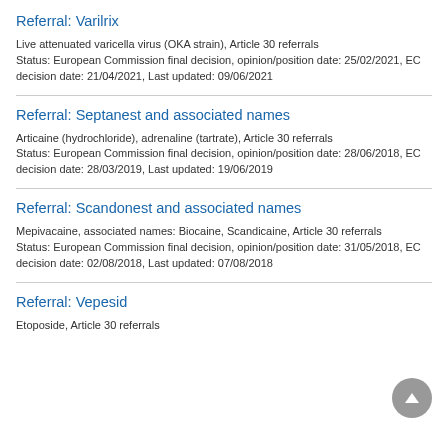Referral: Varilrix
Live attenuated varicella virus (OKA strain), Article 30 referrals
Status: European Commission final decision, opinion/position date: 25/02/2021, EC decision date: 21/04/2021, Last updated: 09/06/2021
Referral: Septanest and associated names
Articaine (hydrochloride), adrenaline (tartrate), Article 30 referrals
Status: European Commission final decision, opinion/position date: 28/06/2018, EC decision date: 28/03/2019, Last updated: 19/06/2019
Referral: Scandonest and associated names
Mepivacaine, associated names: Biocaine, Scandicaine, Article 30 referrals
Status: European Commission final decision, opinion/position date: 31/05/2018, EC decision date: 02/08/2018, Last updated: 07/08/2018
Referral: Vepesid
Etoposide, Article 30 referrals